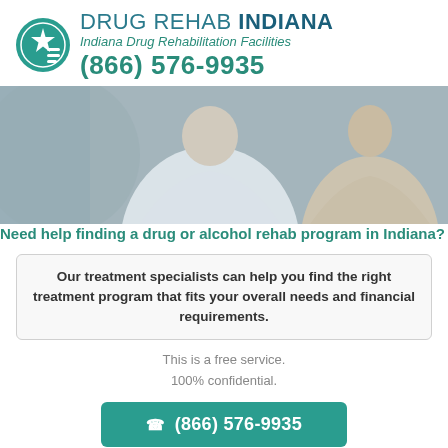[Figure (logo): Drug Rehab Indiana logo with teal circle containing a star and E-like lines, followed by brand name and phone number]
[Figure (photo): Photo of two people in consultation, one in a white shirt, blurred background]
Need help finding a drug or alcohol rehab program in Indiana?
Our treatment specialists can help you find the right treatment program that fits your overall needs and financial requirements.
This is a free service.
100% confidential.
☎ (866) 576-9935
Or fill out our Help Request Form and a specialist will respond